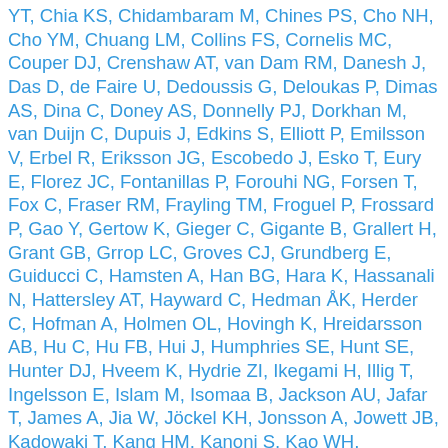YT, Chia KS, Chidambaram M, Chines PS, Cho NH, Cho YM, Chuang LM, Collins FS, Cornelis MC, Couper DJ, Crenshaw AT, van Dam RM, Danesh J, Das D, de Faire U, Dedoussis G, Deloukas P, Dimas AS, Dina C, Doney AS, Donnelly PJ, Dorkhan M, van Duijn C, Dupuis J, Edkins S, Elliott P, Emilsson V, Erbel R, Eriksson JG, Escobedo J, Esko T, Eury E, Florez JC, Fontanillas P, Forouhi NG, Forsen T, Fox C, Fraser RM, Frayling TM, Froguel P, Frossard P, Gao Y, Gertow K, Gieger C, Gigante B, Grallert H, Grant GB, Grrop LC, Groves CJ, Grundberg E, Guiducci C, Hamsten A, Han BG, Hara K, Hassanali N, Hattersley AT, Hayward C, Hedman ÅK, Herder C, Hofman A, Holmen OL, Hovingh K, Hreidarsson AB, Hu C, Hu FB, Hui J, Humphries SE, Hunt SE, Hunter DJ, Hveem K, Hydrie ZI, Ikegami H, Illig T, Ingelsson E, Islam M, Isomaa B, Jackson AU, Jafar T, James A, Jia W, Jöckel KH, Jonsson A, Jowett JB, Kadowaki T, Kang HM, Kanoni S, Kao WH, Kathiresan S, Kato N, Katulanda P, Keinanen-Kiukaanniemi KM, Kelly AM, Khan H, Khaw KT, Khor CC, Kim HL, Kim S, Kim YJ, Kinnunen L, Klopp N, Kong A, Korpi-Hyövälti E, Kowlessur S, Kraft P, Kravic J, Kristonson MM, Krithika S, Kumar